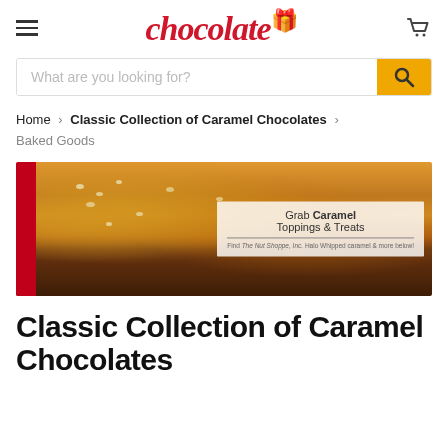chocolate.com header with hamburger menu, logo, and cart icon
What are you looking for?
Home > Classic Collection of Caramel Chocolates > Baked Goods
[Figure (photo): Photo of caramel chocolate brownie bars with nuts, with overlay text 'Grab Caramel Toppings & Treats. Find The Nut Shoppe, Inc. Halo Whipped caramel & more below!']
Classic Collection of Caramel Chocolates